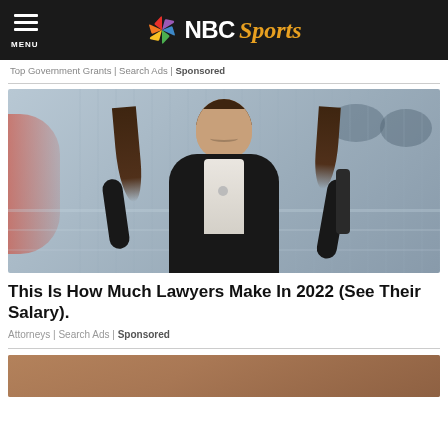NBC Sports
Top Government Grants | Search Ads | Sponsored
[Figure (photo): Professional woman in a black blazer smiling, with blurred office/glass building background]
This Is How Much Lawyers Make In 2022 (See Their Salary).
Attorneys | Search Ads | Sponsored
[Figure (photo): Partial thumbnail of another article image at bottom]